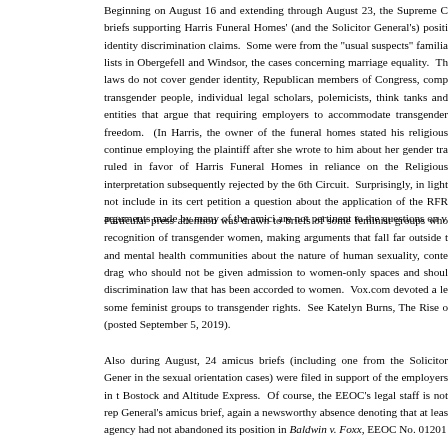Beginning on August 16 and extending through August 23, the Supreme C... briefs supporting Harris Funeral Homes' (and the Solicitor General's) positi... identity discrimination claims. Some were from the "usual suspects" familia... lists in Obergefell and Windsor, the cases concerning marriage equality. Th... laws do not cover gender identity, Republican members of Congress, comp... transgender people, individual legal scholars, polemicists, think tanks and... entities that argue that requiring employers to accommodate transgender... freedom. (In Harris, the owner of the funeral homes stated his religious... continue employing the plaintiff after she wrote to him about her gender tra... ruled in favor of Harris Funeral Homes in reliance on the Religious... interpretation subsequently rejected by the 6th Circuit. Surprisingly, in light... not include in its cert petition a question about the application of the RFR... arguments made by many of the amici are not pertinent to the questions on v...
Particular press attention was drawn to briefs of some feminist groups who... recognition of transgender women, making arguments that fall far outside t... and mental health communities about the nature of human sexuality, conte... drag who should not be given admission to women-only spaces and shoul... discrimination law that has been accorded to women. Vox.com devoted a le... some feminist groups to transgender rights. See Katelyn Burns, The Rise o... (posted September 5, 2019).
Also during August, 24 amicus briefs (including one from the Solicitor Gener... in the sexual orientation cases) were filed in support of the employers in t... Bostock and Altitude Express. Of course, the EEOC's legal staff is not rep... General's amicus brief, again a newsworthy absence denoting that at leas... agency had not abandoned its position in Baldwin v. Foxx, EEOC No. 01201...